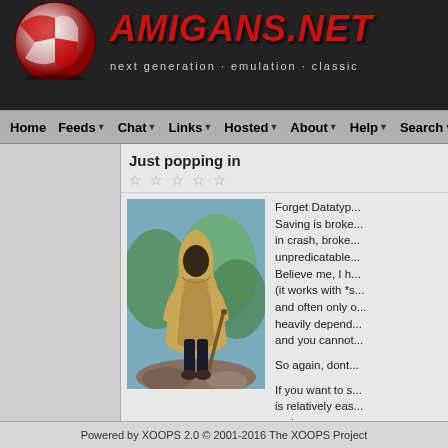AMIGANS.NET — next generation · emulation · classic
Home Feeds Chat Links Hosted About Help Search
Just popping in
[Figure (illustration): Illustration of a hooded figure in a brown cloak holding a staff, standing on rocky ground with a green-blue background]
Forget Datatyp... Saving is broke... in crash, broke... unpredicatable... Believe me, I h... (it works with *s... and often only o... heavily depend... and you cannot...

So again, dont...

If you want to s... is relatively eas... make your prog... installed.

If you use Amib... PNG, JPEG an... write your own... and then call an... produce the de...
Powered by XOOPS 2.0 © 2001-2016 The XOOPS Project